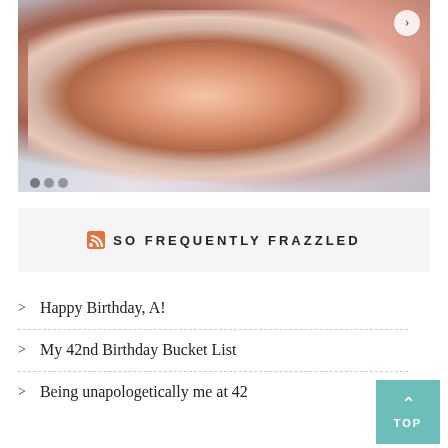[Figure (photo): Baby lying on a white textured blanket wearing a pink onesie with black cat/bird print patterns. Navigation arrow visible in upper right corner. Pagination dots at the bottom left.]
SO FREQUENTLY FRAZZLED
Happy Birthday, A!
My 42nd Birthday Bucket List
Being unapologetically me at 42